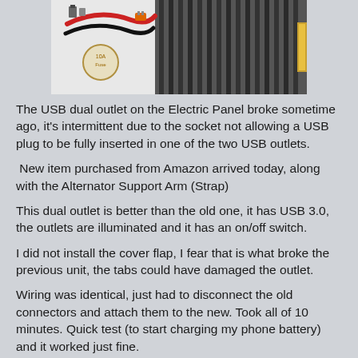[Figure (photo): Product photo showing a USB dual outlet device with red and black wiring cables and a 10A fuse circle label, along with a dark finned alternator or electronic component with a gold accent on the right side.]
The USB dual outlet on the Electric Panel broke sometime ago, it's intermittent due to the socket not allowing a USB plug to be fully inserted in one of the two USB outlets.
New item purchased from Amazon arrived today, along with the Alternator Support Arm (Strap)
This dual outlet is better than the old one, it has USB 3.0, the outlets are illuminated and it has an on/off switch.
I did not install the cover flap, I fear that is what broke the previous unit, the tabs could have damaged the outlet.
Wiring was identical, just had to disconnect the old connectors and attach them to the new. Took all of 10 minutes. Quick test (to start charging my phone battery) and it worked just fine.
I also purchased a 12v to 5v 5amp converter, plan is to use